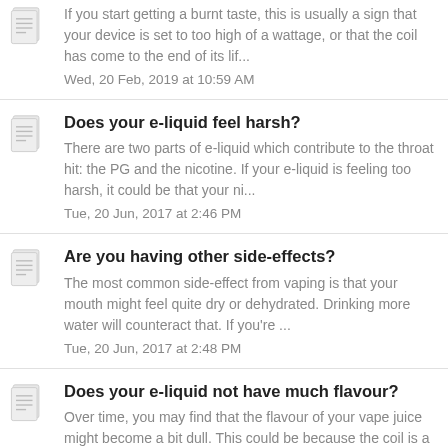If you start getting a burnt taste, this is usually a sign that your device is set to too high of a wattage, or that the coil has come to the end of its lif... Wed, 20 Feb, 2019 at 10:59 AM
Does your e-liquid feel harsh? There are two parts of e-liquid which contribute to the throat hit: the PG and the nicotine. If your e-liquid is feeling too harsh, it could be that your ni... Tue, 20 Jun, 2017 at 2:46 PM
Are you having other side-effects? The most common side-effect from vaping is that your mouth might feel quite dry or dehydrated. Drinking more water will counteract that. If you're ... Tue, 20 Jun, 2017 at 2:48 PM
Does your e-liquid not have much flavour? Over time, you may find that the flavour of your vape juice might become a bit dull. This could be because the coil is a bit older, so changing it to a new ... Tue, 20 Jun, 2017 at 2:49 PM